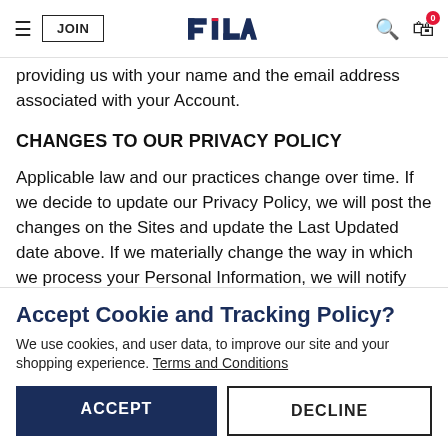FILA — JOIN | navigation bar with search and cart (0 items)
providing us with your name and the email address associated with your Account.
CHANGES TO OUR PRIVACY POLICY
Applicable law and our practices change over time. If we decide to update our Privacy Policy, we will post the changes on the Sites and update the Last Updated date above. If we materially change the way in which we process your Personal Information, we will notify you by prominently posting the changes on our Personal Information Interactions or by using the contact information you have on file By continuing to use our Fila Interactions you are
Accept Cookie and Tracking Policy? We use cookies, and user data, to improve our site and your shopping experience. Terms and Conditions
ACCEPT
DECLINE